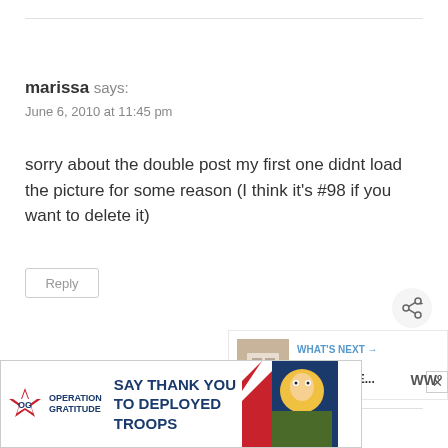marissa says:
June 6, 2010 at 11:45 pm
sorry about the double post my first one didnt load the picture for some reason (I think it’s #98 if you want to delete it)
Reply
[Figure (other): Share button icon (circle with share symbol)]
[Figure (other): What's Next promo box with thumbnail image and text: FREE PRINTABLE...]
Steph says:
[Figure (other): Advertisement banner: Operation Gratitude - SAY THANK YOU TO DEPLOYED TROOPS with military-themed imagery]